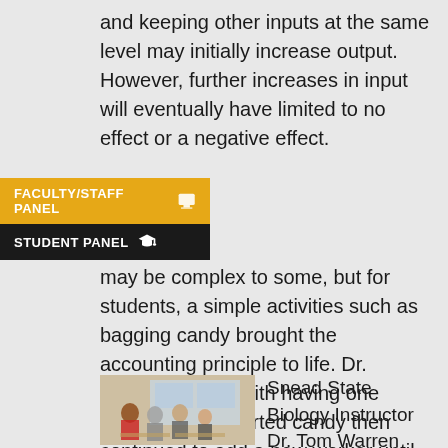and keeping other inputs at the same level may initially increase output. However, further increases in input will eventually have limited to no effect or a negative effect.
[Figure (infographic): Two navigation panels: yellow FACULTY/STAFF PANEL with graduation cap icon, and dark STUDENT PANEL with graduation cap icon]
may be complex to some, but for students, a simple activities such as bagging candy brought the accounting principle to life. Dr. Jackson began with having one student bag assorted candy then continued to add a new worker until students were able to measure product output and how it relates to the law of diminishing marginal product.
[Figure (photo): Classroom photo showing students seated at tables, viewed from behind]
Snead State Biology Instructor Dr. Tom Warren took his